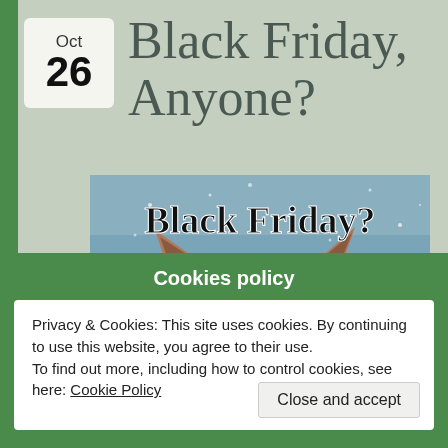Oct 26
Black Friday, Anyone?
[Figure (photo): A cougar/mountain lion looking directly at the camera with snow falling. Text overlay reads 'Black Friday?' in bold serif font.]
Cookies policy
Privacy & Cookies: This site uses cookies. By continuing to use this website, you agree to their use.
To find out more, including how to control cookies, see here: Cookie Policy
Close and accept